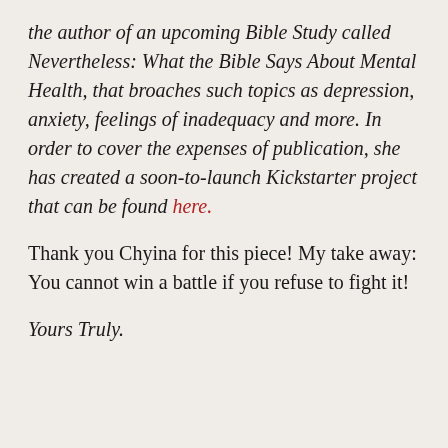the author of an upcoming Bible Study called Nevertheless: What the Bible Says About Mental Health, that broaches such topics as depression, anxiety, feelings of inadequacy and more. In order to cover the expenses of publication, she has created a soon-to-launch Kickstarter project that can be found here.
Thank you Chyina for this piece! My take away: You cannot win a battle if you refuse to fight it!
Yours Truly.